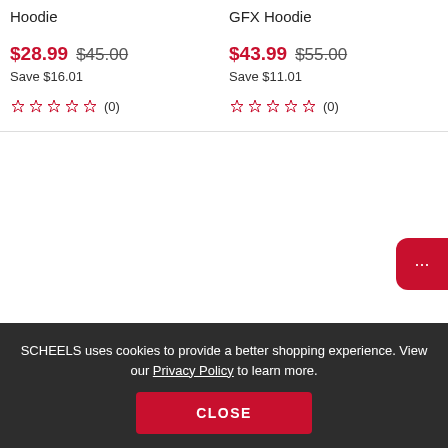Hoodie
GFX Hoodie
$28.99  $45.00
Save $16.01
$43.99  $55.00
Save $11.01
★★★★★ (0)
★★★★★ (0)
SCHEELS uses cookies to provide a better shopping experience. View our Privacy Policy to learn more.
CLOSE